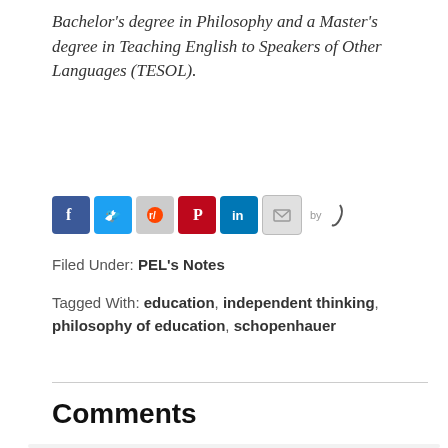Bachelor's degree in Philosophy and a Master's degree in Teaching English to Speakers of Other Languages (TESOL).
[Figure (other): Social share buttons: Facebook, Twitter, Reddit, Pinterest, LinkedIn, Email, and 'by' attribution logo]
Filed Under: PEL's Notes
Tagged With: education, independent thinking, philosophy of education, schopenhauer
Comments
s. wallerstein says
June 12, 2014 at 9:39 am
Schopenhauer was a very educated person and had the tool needed to "think for himself". You